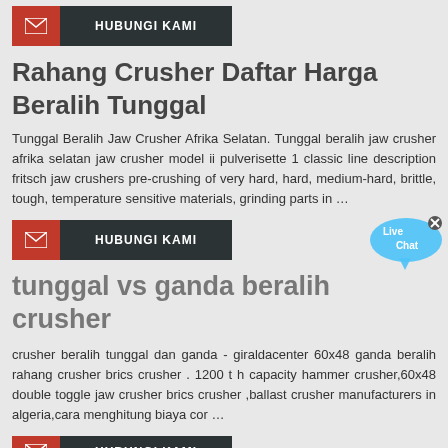[Figure (other): HUBUNGI KAMI button with red icon area and dark background text]
Rahang Crusher Daftar Harga Beralih Tunggal
Tunggal Beralih Jaw Crusher Afrika Selatan. Tunggal beralih jaw crusher afrika selatan jaw crusher model ii pulverisette 1 classic line description fritsch jaw crushers pre-crushing of very hard, hard, medium-hard, brittle, tough, temperature sensitive materials, grinding parts in …
[Figure (other): HUBUNGI KAMI button with red icon area and dark background text]
tunggal vs ganda beralih crusher
crusher beralih tunggal dan ganda - giraldacenter 60x48 ganda beralih rahang crusher brics crusher . 1200 t h capacity hammer crusher,60x48 double toggle jaw crusher brics crusher ,ballast crusher manufacturers in algeria,cara menghitung biaya cor …
[Figure (other): HUBUNGI KAMI button with red icon area and dark background text (partially visible)]